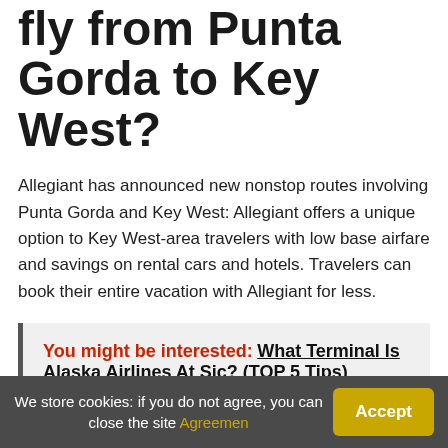fly from Punta Gorda to Key West?
Allegiant has announced new nonstop routes involving Punta Gorda and Key West: Allegiant offers a unique option to Key West-area travelers with low base airfare and savings on rental cars and hotels. Travelers can book their entire vacation with Allegiant for less.
You might be interested: What Terminal Is Alaska Airlines At Sjc? (TOP 5 Tips)
Does Allegiant airlines
We store cookies: if you do not agree, you can close the site Agreemen